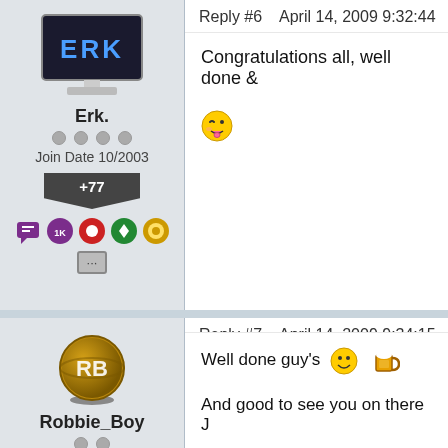Reply #6   April 14, 2009 9:32:44
Erk.
Join Date 10/2003
+77
Congratulations all, well done &
Reply #7   April 14, 2009 9:34:15
Robbie_Boy
Join Date 03/2005
+63
Well done guy's
And good to see you on there J